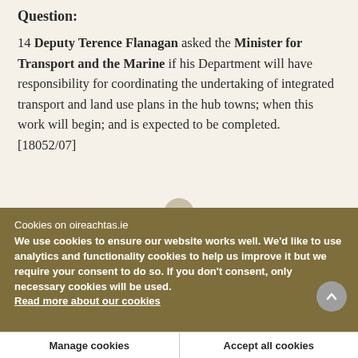Question:
14 Deputy Terence Flanagan asked the Minister for Transport and the Marine if his Department will have responsibility for coordinating the undertaking of integrated transport and land use plans in the hub towns; when this work will begin; and is expected to be completed. [18052/07]
Cookies on oireachtas.ie
We use cookies to ensure our website works well. We'd like to use analytics and functionality cookies to help us improve it but we require your consent to do so. If you don't consent, only necessary cookies will be used.
Read more about our cookies
Manage cookies
Accept all cookies